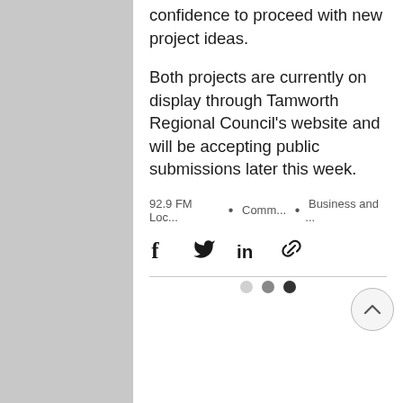confidence to proceed with new project ideas.
Both projects are currently on display through Tamworth Regional Council's website and will be accepting public submissions later this week.
92.9 FM Loc... • Comm... • Business and ...
[Figure (other): Social share icons: Facebook, Twitter, LinkedIn, and a link/copy icon]
[Figure (other): Pagination dots: three dots (light, medium, dark) indicating carousel position]